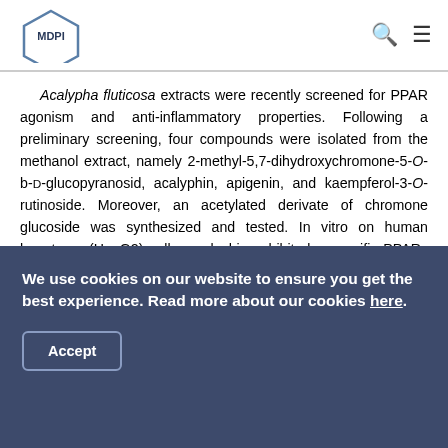MDPI
Acalypha fluticosa extracts were recently screened for PPAR agonism and anti-inflammatory properties. Following a preliminary screening, four compounds were isolated from the methanol extract, namely 2-methyl-5,7-dihydroxychromone-5-O-b-D-glucopyranosid, acalyphin, apigenin, and kaempferol-3-O-rutinoside. Moreover, an acetylated derivate of chromone glucoside was synthesized and tested. In vitro on human hepatoma (HepG2) cells, acalyphin exhibited a specific PPARγ agonist activity, while apigenin revealed a weak PPARα agonism. Chromone glucoside displayed activity as a dual PPARα/γ agonist, while its acetylated derivative showed
We use cookies on our website to ensure you get the best experience. Read more about our cookies here.